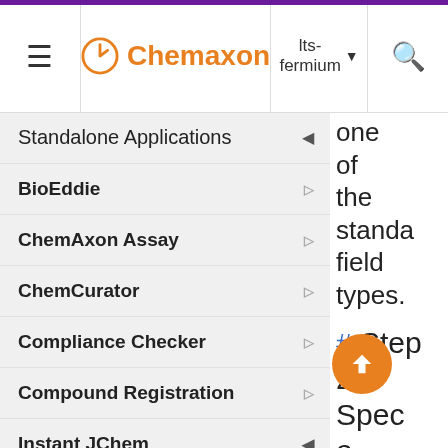Chemaxon | lts-fermium
Standalone Applications
BioEddie
ChemAxon Assay
ChemCurator
Compliance Checker
Compound Registration
Instant JChem
Instant Jchem User Guide
Getting Started
one of the standard field types.
# Step 2. Specify the type